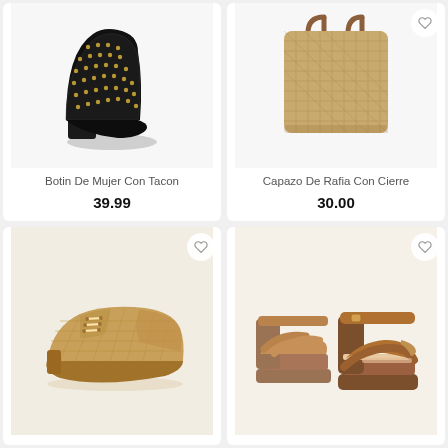[Figure (photo): Black studded cowboy bootie with block heel]
Botin De Mujer Con Tacon
39.99
[Figure (photo): Woven raffia tote bag with brown leather handles]
Capazo De Rafia Con Cierre
30.00
[Figure (photo): Tan woven raffia oxford lace-up flat shoe]
[Figure (photo): Tan brown suede platform block heel sandals with ankle strap]